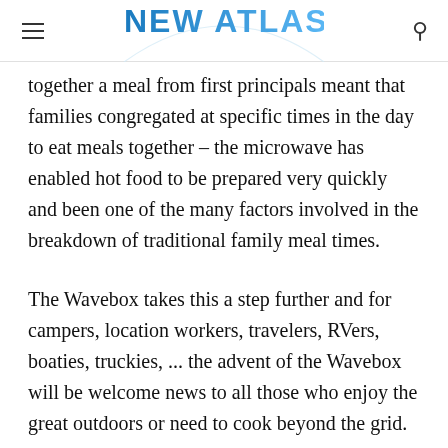NEW ATLAS
together a meal from first principals meant that families congregated at specific times in the day to eat meals together – the microwave has enabled hot food to be prepared very quickly and been one of the many factors involved in the breakdown of traditional family meal times.
The Wavebox takes this a step further and for campers, location workers, travelers, RVers, boaties, truckies, ... the advent of the Wavebox will be welcome news to all those who enjoy the great outdoors or need to cook beyond the grid.
The Wavebox comes with three preset cook buttons